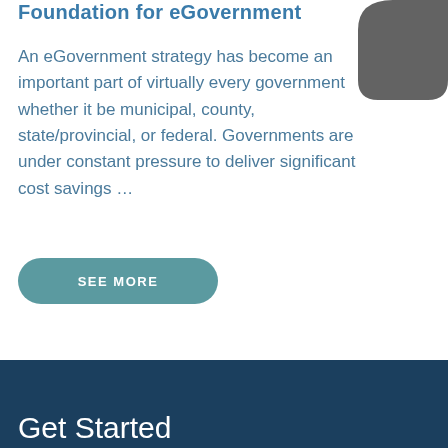Foundation for eGovernment
[Figure (illustration): A dark gray rounded shape (partial circle/leaf) in the top-right corner of the white section]
An eGovernment strategy has become an important part of virtually every government whether it be municipal, county, state/provincial, or federal. Governments are under constant pressure to deliver significant cost savings …
SEE MORE
Get Started